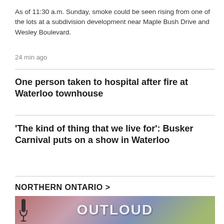As of 11:30 a.m. Sunday, smoke could be seen rising from one of the lots at a subdivision development near Maple Bush Drive and Wesley Boulevard.
24 min ago
One person taken to hospital after fire at Waterloo townhouse
'The kind of thing that we live for': Busker Carnival puts on a show in Waterloo
NORTHERN ONTARIO >
[Figure (photo): Colorful photo showing 'OUTLOUD' text with a microphone visible in the foreground]